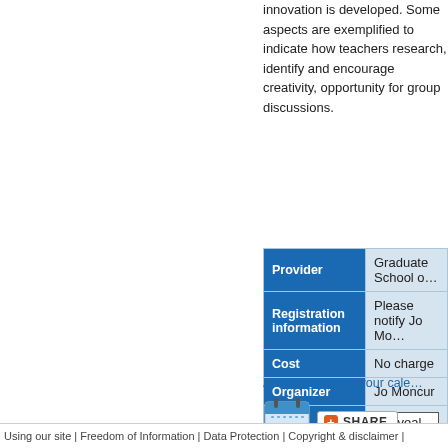innovation is developed. Some aspects are exemplified to indicate how teachers research, identify and encourage creativity, opportunity for group discussions.
| Label | Value |
| --- | --- |
| Provider | Graduate School of… |
| Registration information | Please notify Jo Mo… |
| Cost | No charge |
| Organizer | Jo Moncur |
| Email | Reveal address |
[Figure (other): Calendar icon showing day 30 with a share button]
Add this event to your cale…
Using our site | Freedom of Information | Data Protection | Copyright & disclaimer |